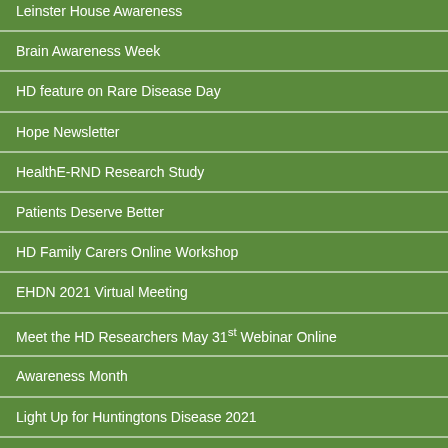Leinster House Awareness
Brain Awareness Week
HD feature on Rare Disease Day
Hope Newsletter
HealthE-RND Research Study
Patients Deserve Better
HD Family Carers Online Workshop
EHDN 2021 Virtual Meeting
Meet the HD Researchers May 31st Webinar Online
Awareness Month
Light Up for Huntingtons Disease 2021
Family Matters Survey